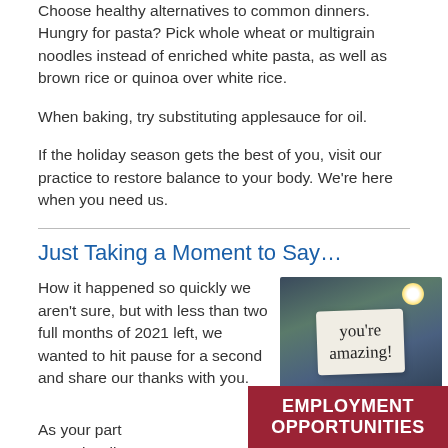Choose healthy alternatives to common dinners. Hungry for pasta? Pick whole wheat or multigrain noodles instead of enriched white pasta, as well as brown rice or quinoa over white rice.
When baking, try substituting applesauce for oil.
If the holiday season gets the best of you, visit our practice to restore balance to your body. We're here when you need us.
Just Taking a Moment to Say…
How it happened so quickly we aren't sure, but with less than two full months of 2021 left, we wanted to hit pause for a second and share our thanks with you.
[Figure (photo): Hand holding a torn paper note with handwritten cursive text reading 'you're amazing!' against a bright sky and trees background.]
As your part natural welln
EMPLOYMENT OPPORTUNITIES